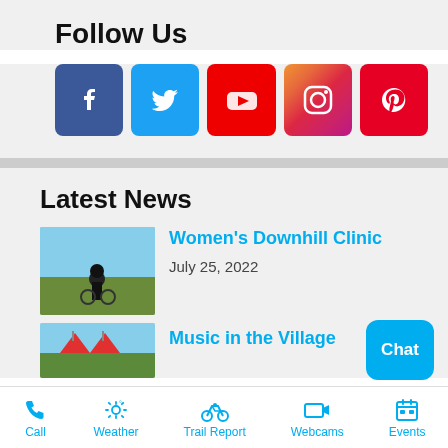Follow Us
[Figure (infographic): Social media icons: Facebook, Twitter, YouTube, Instagram, Pinterest]
Latest News
[Figure (photo): Woman in motocross gear on a hill]
Women's Downhill Clinic
July 25, 2022
[Figure (photo): Music in the Village event photo with decorations]
Music in the Village
Chat
Call   Weather   Trail Report   Webcams   Events